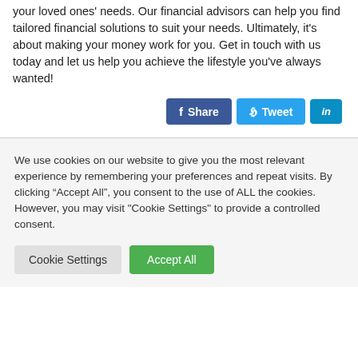We know how hard you work to earn enough for you and your loved ones' needs. Our financial advisors can help you find tailored financial solutions to suit your needs. Ultimately, it's about making your money work for you. Get in touch with us today and let us help you achieve the lifestyle you've always wanted!
[Figure (other): Social sharing buttons: Share (Facebook, blue), Tweet (Twitter, light blue), LinkedIn (in icon, blue)]
We use cookies on our website to give you the most relevant experience by remembering your preferences and repeat visits. By clicking “Accept All”, you consent to the use of ALL the cookies. However, you may visit "Cookie Settings" to provide a controlled consent.
Cookie Settings | Accept All